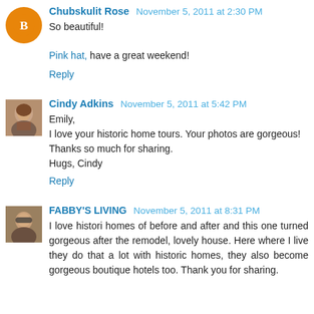Chubskulit Rose November 5, 2011 at 2:30 PM
So beautiful!
Pink hat, have a great weekend!
Reply
Cindy Adkins November 5, 2011 at 5:42 PM
Emily,
I love your historic home tours. Your photos are gorgeous!
Thanks so much for sharing.
Hugs, Cindy
Reply
FABBY'S LIVING November 5, 2011 at 8:31 PM
I love histori homes of before and after and this one turned gorgeous after the remodel, lovely house. Here where I live they do that a lot with historic homes, they also become gorgeous boutique hotels too. Thank you for sharing.